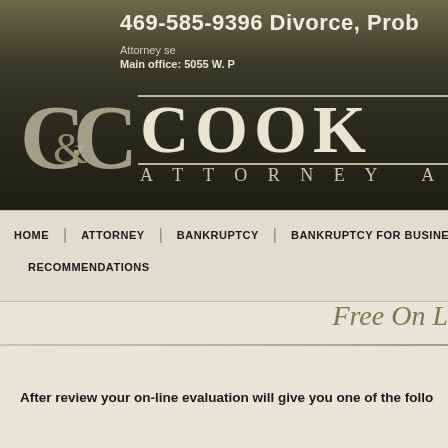469-585-9396 Divorce, Prob[ate]
Attorney se[rving...]
Main office: 5055 W. P[...]
[Figure (logo): C&C ampersand logo in light olive/cream color on dark background]
COOK
ATTORNEY A[T LAW]
HOME
ATTORNEY
BANKRUPTCY
BANKRUPTCY FOR BUSINE[SS]
RECOMMENDATIONS
Free On L[ine Evaluation]
After review your on-line evaluation will give you one of the follo[wing]